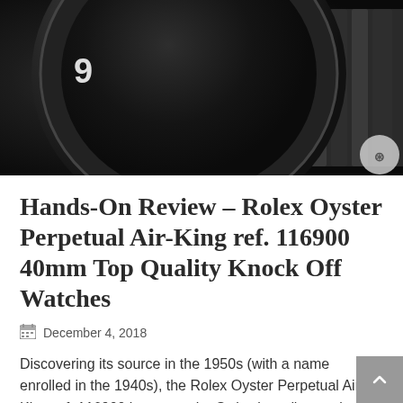[Figure (photo): Close-up photograph of a Rolex watch dial and bracelet on a dark background, showing numerals 50, 40, 35 on the bezel]
Hands-On Review – Rolex Oyster Perpetual Air-King ref. 116900 40mm Top Quality Knock Off Watches
December 4, 2018
Discovering its source in the 1950s (with a name enrolled in the 1940s), the Rolex Oyster Perpetual Air-King ref. 116900 is among the Swiss brand's novelty for 2016. For those who know us, we discussed our annual